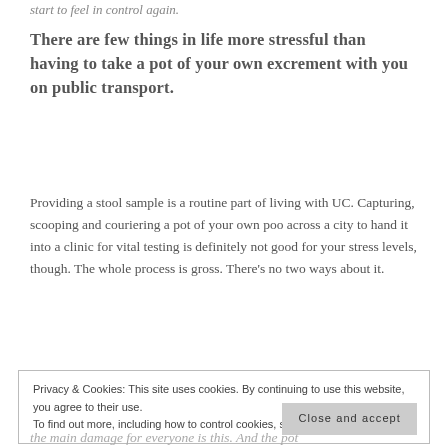start to feel in control again.
There are few things in life more stressful than having to take a pot of your own excrement with you on public transport.
Providing a stool sample is a routine part of living with UC. Capturing, scooping and couriering a pot of your own poo across a city to hand it into a clinic for vital testing is definitely not good for your stress levels, though. The whole process is gross. There’s no two ways about it.
Privacy & Cookies: This site uses cookies. By continuing to use this website, you agree to their use. To find out more, including how to control cookies, see here: Cookie Policy
Close and accept
the main damage for everyone is this. And the pot